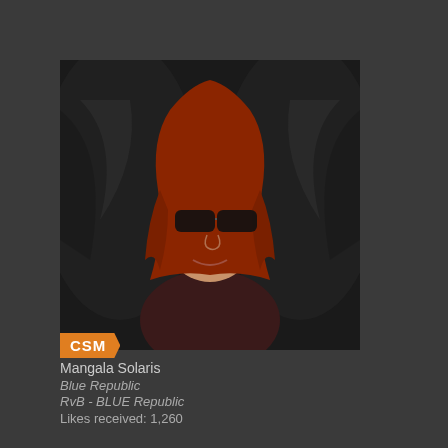[Figure (photo): Avatar photo of a red-haired woman wearing sunglasses, dark fantasy style background with wings]
CSM
Mangala Solaris
Blue Republic
RvB - BLUE Republic
Likes received: 1,260
#155 - 2013-10-17 22:08:28 UTC | Edited
Mangala Solaris wrote:
If anyone is around Thursday 17th pubcrawl.

Namely this one:

http://www.vegas4locals.com/thirs

Its run by these guys:

http://hennesseysslasvegas.com/fl

$20, bunch of free drinks, 1/2 pric

Despite what all the info says, it l interested do the same to reserve just rock up on the day before 19.

(email for the place: LV@henness